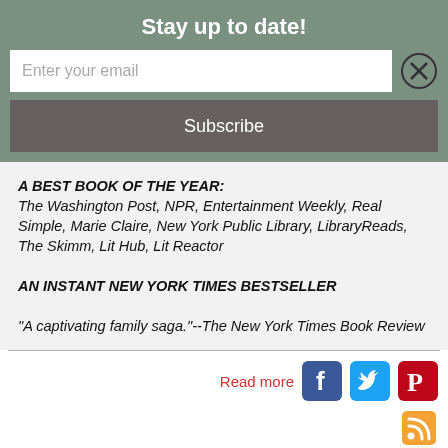Stay up to date!
Enter your email
Subscribe
A BEST BOOK OF THE YEAR:
The Washington Post, NPR, Entertainment Weekly, Real Simple, Marie Claire, New York Public Library, LibraryReads, The Skimm, Lit Hub, Lit Reactor

AN INSTANT NEW YORK TIMES BESTSELLER

"A captivating family saga."--The New York Times Book Review
Read more
Events Calendar